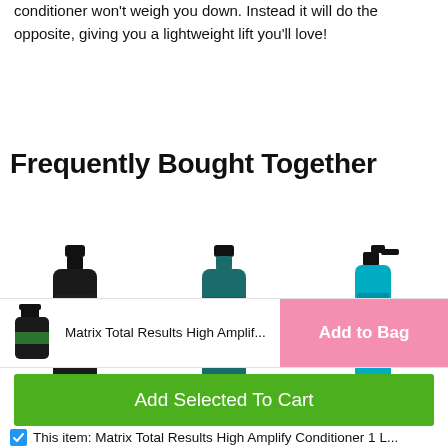conditioner won't weigh you down. Instead it will do the opposite, giving you a lightweight lift you'll love!
Frequently Bought Together
[Figure (photo): Three Matrix Total Results hair care product bottles arranged side by side — a black shampoo bottle, a teal/dark green conditioner bottle, and a teal spray bottle.]
Matrix Total Results High Amplif...
total price: $88.85
Add to Bag
Add Selected To Cart
This item: Matrix Total Results High Amplify Conditioner 1 L...